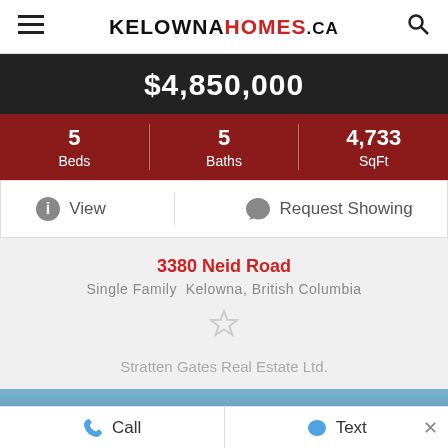KelownaHomes.ca
$4,850,000
| Beds | Baths | SqFt |
| --- | --- | --- |
| 5 | 5 | 4,733 |
View   Request Showing
3380 Neid Road
Single Family  Kelowna, British Columbia
Stratten Gates Real Estate Ltd.
[Figure (photo): Partial property photo, blue sky visible]
Call   Text